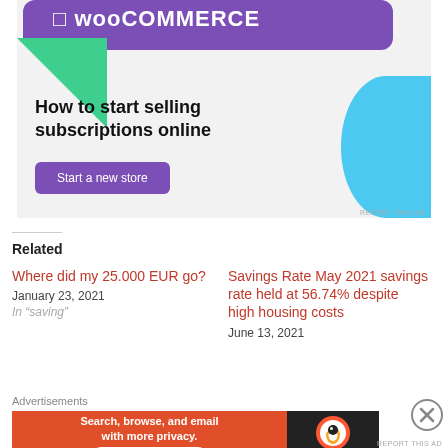[Figure (illustration): WooCommerce advertisement banner with purple logo bar, green triangle shape, blue curved shape, headline 'How to start selling subscriptions online', and purple 'Start a new store' button]
REPORT THIS AD
Related
Where did my 25.000 EUR go?
January 23, 2021
Savings Rate May 2021 savings rate held at 56.74% despite high housing costs
June 13, 2021
Advertisements
[Figure (illustration): DuckDuckGo advertisement: 'Search, browse, and email with more privacy. All in One Free App' on orange background with DuckDuckGo logo on dark background]
REPORT THIS AD